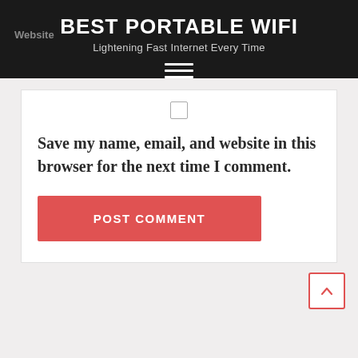BEST PORTABLE WIFI
Lightening Fast Internet Every Time
[Figure (other): Hamburger menu icon with three horizontal white lines on dark background]
[Figure (other): Checkbox (unchecked, square outline)]
Save my name, email, and website in this browser for the next time I comment.
POST COMMENT
[Figure (other): Back to top button: red-outlined square with upward chevron arrow]